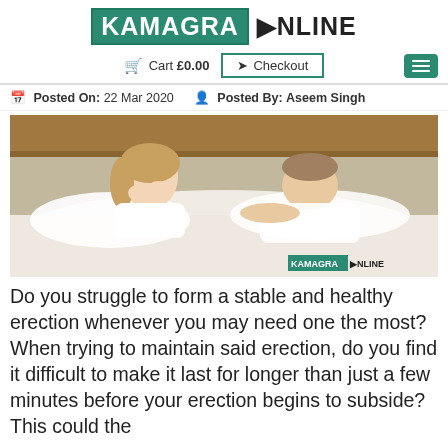KAMAGRA ONLINE — Cart £0.00 → Checkout
Posted On: 22 Mar 2020   Posted By: Aseem Singh
[Figure (photo): A couple lying in bed, the woman looking distressed with her hands on her face, the man looking at her with concern. Watermark: KAMAGRA ONLINE.]
Do you struggle to form a stable and healthy erection whenever you may need one the most? When trying to maintain said erection, do you find it difficult to make it last for longer than just a few minutes before your erection begins to subside? This could the